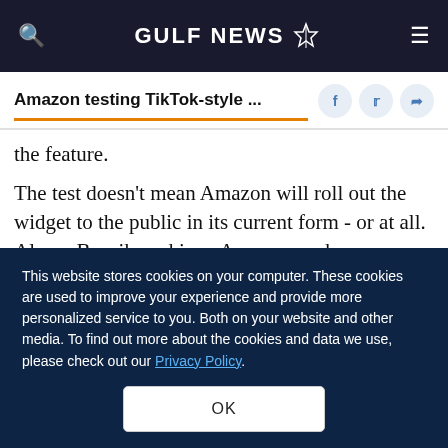GULF NEWS
Amazon testing TikTok-style ...
the feature.
The test doesn't mean Amazon will roll out the widget to the public in its current form - or at all. Alyssa Bronikowski, an Amazon spokesperson, declined to say if the company has plans to introduce the feature to all its customers. In a
This website stores cookies on your computer. These cookies are used to improve your experience and provide more personalized service to you. Both on your website and other media. To find out more about the cookies and data we use, please check out our Privacy Policy.